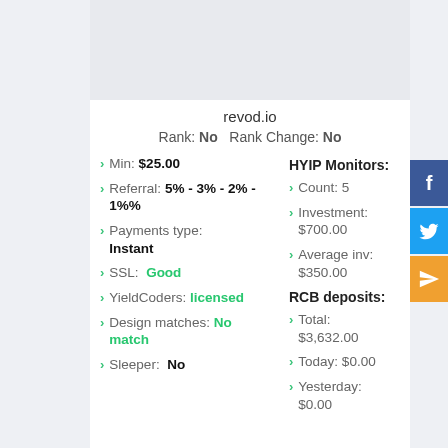revod.io
Rank: No   Rank Change: No
Min: $25.00
Referral: 5% - 3% - 2% - 1%%
Payments type: Instant
SSL: Good
YieldCoders: licensed
Design matches: No match
Sleeper: No
HYIP Monitors:
Count: 5
Investment: $700.00
Average inv: $350.00
RCB deposits:
Total: $3,632.00
Today: $0.00
Yesterday: $0.00